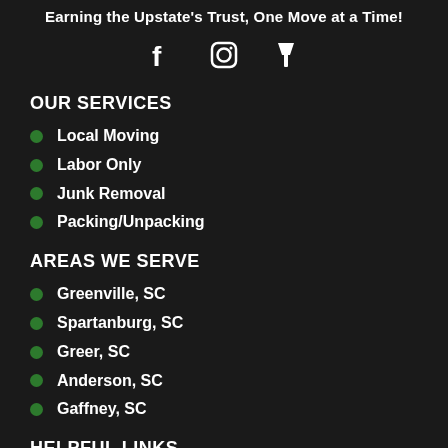Earning the Upstate's Trust, One Move at a Time!
[Figure (infographic): Social media icons: Facebook, Instagram, Pinterest/pushpin]
OUR SERVICES
Local Moving
Labor Only
Junk Removal
Packing/Unpacking
AREAS WE SERVE
Greenville, SC
Spartanburg, SC
Greer, SC
Anderson, SC
Gaffney, SC
HELPFUL LINKS